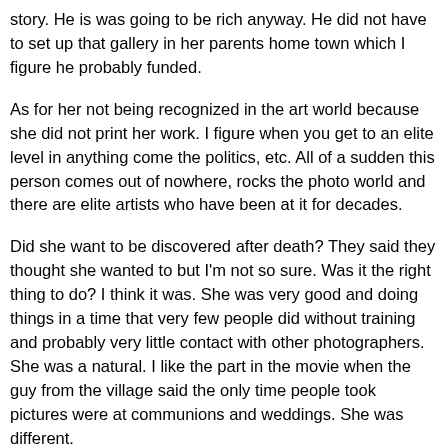story. He is was going to be rich anyway. He did not have to set up that gallery in her parents home town which I figure he probably funded.
As for her not being recognized in the art world because she did not print her work. I figure when you get to an elite level in anything come the politics, etc. All of a sudden this person comes out of nowhere, rocks the photo world and there are elite artists who have been at it for decades.
Did she want to be discovered after death? They said they thought she wanted to but I'm not so sure. Was it the right thing to do? I think it was. She was very good and doing things in a time that very few people did without training and probably very little contact with other photographers. She was a natural. I like the part in the movie when the guy from the village said the only time people took pictures were at communions and weddings. She was different.
I'm glad they did this documentary. They did not hold back on her dark side when it came to a few stories of abuse which I found interesting. It was sad how lonely she was at the end and with treatment it may have been different. I think she deserves the recognition because of her work and how she spent